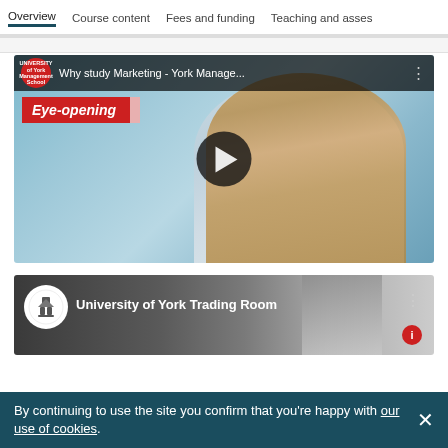Overview | Course content | Fees and funding | Teaching and assessment
[Figure (screenshot): YouTube video thumbnail for 'Why study Marketing - York Manage...' with Eye-opening banner overlay and play button]
[Figure (screenshot): YouTube video thumbnail for 'University of York Trading Room']
By continuing to use the site you confirm that you're happy with our use of cookies.